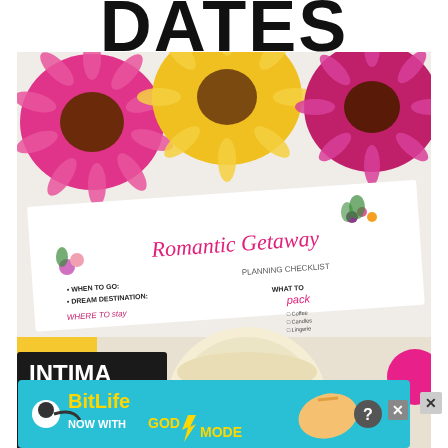DATES
[Figure (photo): Two overlapping photos: top shows colorful gerbera daisies (pink, yellow) with a white card labeled 'Romantic Getaway Planning Checklist' showing sections for 'When to go', 'Dream Destination', 'Where to Stay', and 'What to Pack'; bottom photo shows intimate date items including a candle, game cards with 'get it' text, pink items, and black 'INTIMA-' and 'DA-' lettered cards.]
[Figure (screenshot): BitLife advertisement banner with blue background. Shows sperm logo, 'BitLife' in yellow, 'Now with GOD MODE' in white/yellow text, lightning bolt graphic, cartoon hand, question mark circle, and X close button.]